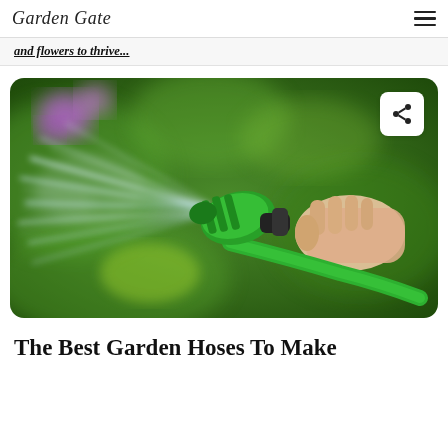Garden Gate
and flowers to thrive...
[Figure (photo): A hand holding a green garden hose nozzle/sprayer spraying water, with a green garden background with blurred flowers]
The Best Garden Hoses To Make